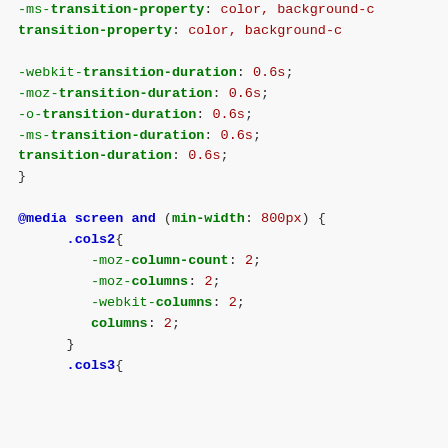-ms-transition-property: color, background-c
transition-property: color, background-c
-webkit-transition-duration: 0.6s;
-moz-transition-duration: 0.6s;
-o-transition-duration: 0.6s;
-ms-transition-duration: 0.6s;
transition-duration: 0.6s;
}

@media screen and (min-width: 800px) {
    .cols2{
        -moz-column-count: 2;
        -moz-columns: 2;
        -webkit-columns: 2;
        columns: 2;
    }
    .cols3{